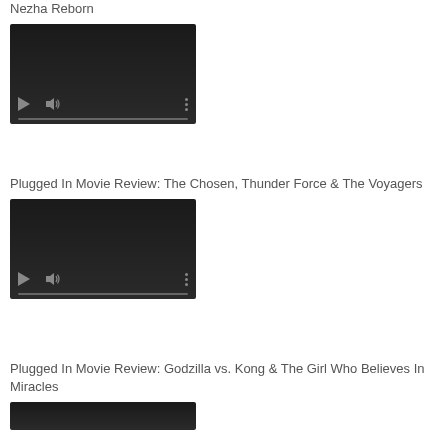Nezha Reborn
[Figure (screenshot): Video player with dark background showing play button, volume icon, more options icon, and progress bar at bottom]
Plugged In Movie Review: The Chosen, Thunder Force & The Voyagers
[Figure (screenshot): Video player with dark background showing play button, volume icon, more options icon, and progress bar at bottom]
Plugged In Movie Review: Godzilla vs. Kong & The Girl Who Believes In Miracles